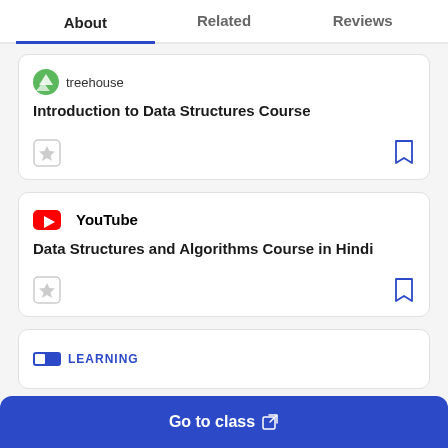About | Related | Reviews
treehouse — Introduction to Data Structures Course
YouTube — Data Structures and Algorithms Course in Hindi
Go to class